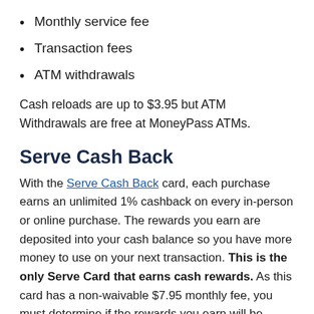Monthly service fee
Transaction fees
ATM withdrawals
Cash reloads are up to $3.95 but ATM Withdrawals are free at MoneyPass ATMs.
Serve Cash Back
With the Serve Cash Back card, each purchase earns an unlimited 1% cashback on every in-person or online purchase. The rewards you earn are deposited into your cash balance so you have more money to use on your next transaction. This is the only Serve Card that earns cash rewards. As this card has a non-waivable $7.95 monthly fee, you must determine if the rewards you earn will be enough to offset the fee.